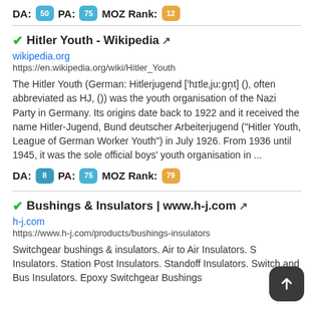DA: 50  PA: 75  MOZ Rank: 12
Hitler Youth - Wikipedia
wikipedia.org
https://en.wikipedia.org/wiki/Hitler_Youth

The Hitler Youth (German: Hitlerjugend ['hɪtleˌjuːgn̩t] (), often abbreviated as HJ, ()) was the youth organisation of the Nazi Party in Germany. Its origins date back to 1922 and it received the name Hitler-Jugend, Bund deutscher Arbeiterjugend ("Hitler Youth, League of German Worker Youth") in July 1926. From 1936 until 1945, it was the sole official boys' youth organisation in ...
DA: 8  PA: 75  MOZ Rank: 79
Bushings & Insulators | www.h-j.com
h-j.com
https://www.h-j.com/products/bushings-insulators

Switchgear bushings & insulators. Air to Air Insulators. S Insulators. Station Post Insulators. Standoff Insulators. Switch and Bus Insulators. Epoxy Switchgear Bushings